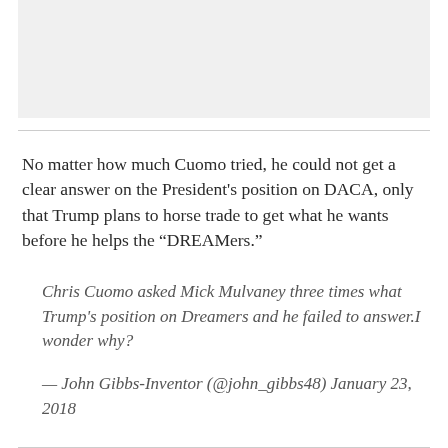[Figure (other): Gray image placeholder at top of page]
No matter how much Cuomo tried, he could not get a clear answer on the President's position on DACA, only that Trump plans to horse trade to get what he wants before he helps the “DREAMers.”
Chris Cuomo asked Mick Mulvaney three times what Trump's position on Dreamers and he failed to answer.I wonder why?
— John Gibbs-Inventor (@john_gibbs48) January 23, 2018